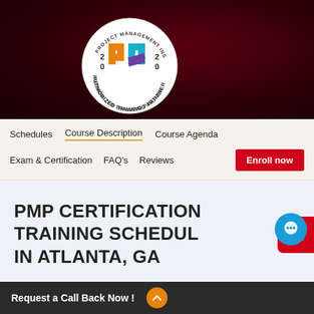[Figure (logo): PMI Authorized Training Partner 2020 circular badge logo with PM crossword-style logo in orange, teal, and purple on white circular background, set against dark red/maroon background]
Schedules | Course Description | Course Agenda | Exam & Certification | FAQ's | Reviews | Enroll now
PMP CERTIFICATION TRAINING SCHEDULES IN ATLANTA, GA
Request a Call Back Now !